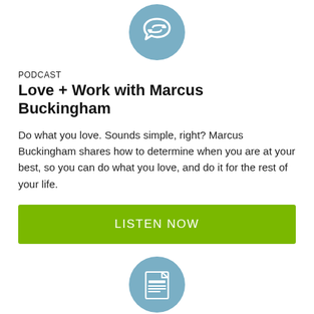[Figure (logo): Blue circle with white podcast/conversation icon (two overlapping speech/sync arrows)]
PODCAST
Love + Work with Marcus Buckingham
Do what you love. Sounds simple, right? Marcus Buckingham shares how to determine when you are at your best, so you can do what you love, and do it for the rest of your life.
LISTEN NOW
[Figure (logo): Blue circle with white newspaper/blog icon]
FROM OUR BLOG
Overcoming Unconscious Biases